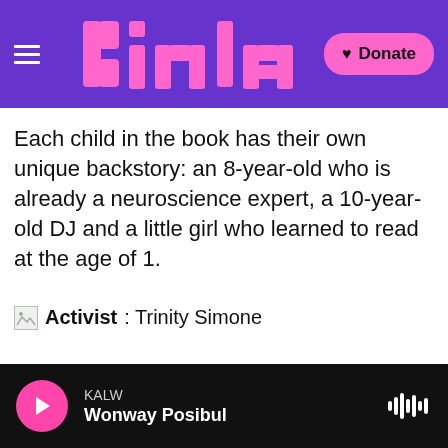KALW — Kinlaw (logo) — Donate
Each child in the book has their own unique backstory: an 8-year-old who is already a neuroscience expert, a 10-year-old DJ and a little girl who learned to read at the age of 1.
[Figure (photo): Broken image placeholder followed by text: Activist: Trinity Simone]
KALW | Wonway Posibul